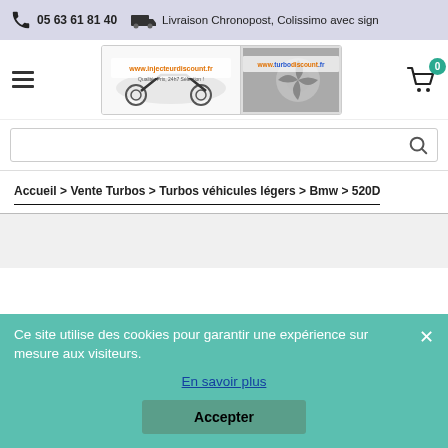05 63 61 81 40   Livraison Chronopost, Colissimo avec sign
[Figure (logo): Website logos: www.injecteurdiscount.fr and www.turbodiscount.fr with motorcycle and turbo imagery]
[Figure (screenshot): Search bar with magnifying glass icon]
Accueil > Vente Turbos > Turbos véhicules légers > Bmw > 520D
Ce site utilise des cookies pour garantir une expérience sur mesure aux visiteurs.
En savoir plus
Accepter